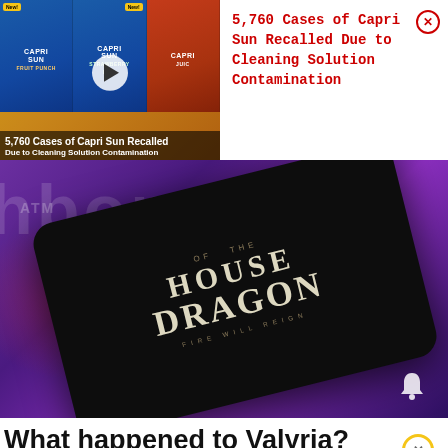[Figure (screenshot): Thumbnail image of Capri Sun juice boxes with a video play button overlay and text '5,760 Cases of Capri Sun Recalled Due to Cleaning Solution Contamination']
5,760 Cases of Capri Sun Recalled Due to Cleaning Solution Contamination
[Figure (photo): HBO Max promotional image showing a smartphone with House of the Dragon logo on screen, purple background with HBO Max text visible]
What happened to Valyria? House Of The Dragon hints at ruined city